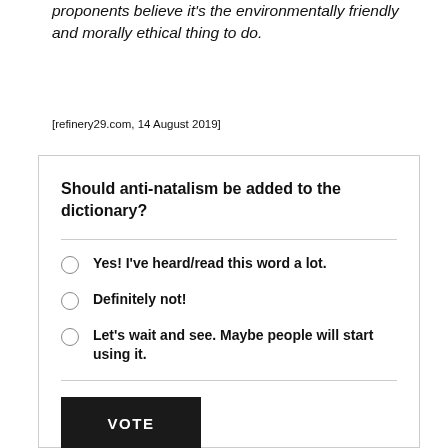proponents believe it's the environmentally friendly and morally ethical thing to do.
[refinery29.com, 14 August 2019]
Should anti-natalism be added to the dictionary?
Yes! I've heard/read this word a lot.
Definitely not!
Let's wait and see. Maybe people will start using it.
VOTE
View Results